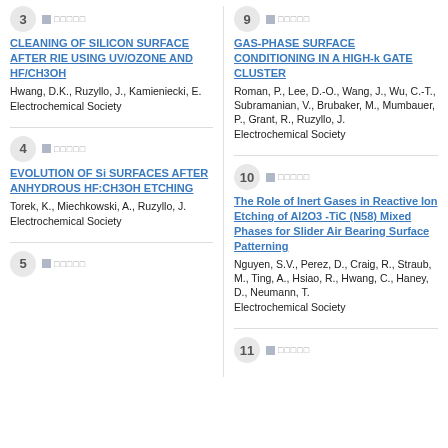3 - CLEANING OF SILICON SURFACE AFTER RIE USING UV/OZONE AND HF/CH3OH
Hwang, D.K., Ruzyllo, J., Kamieniecki, E.
Electrochemical Society
9 - GAS-PHASE SURFACE CONDITIONING IN A HIGH-k GATE CLUSTER
Roman, P., Lee, D.-O., Wang, J., Wu, C.-T., Subramanian, V., Brubaker, M., Mumbauer, P., Grant, R., Ruzyllo, J.
Electrochemical Society
4 - EVOLUTION OF Si SURFACES AFTER ANHYDROUS HF:CH3OH ETCHING
Torek, K., Miechkowski, A., Ruzyllo, J.
Electrochemical Society
10 - The Role of Inert Gases in Reactive Ion Etching of Al2O3 -TiC (N58) Mixed Phases for Slider Air Bearing Surface Patterning
Nguyen, S.V., Perez, D., Craig, R., Straub, M., Ting, A., Hsiao, R., Hwang, C., Haney, D., Neumann, T.
Electrochemical Society
5
11